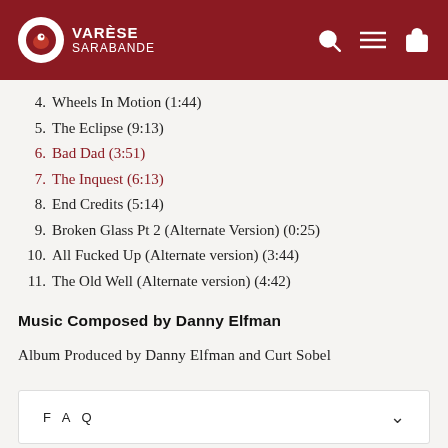Varèse Sarabande
4. Wheels In Motion (1:44)
5. The Eclipse (9:13)
6. Bad Dad (3:51)
7. The Inquest (6:13)
8. End Credits (5:14)
9. Broken Glass Pt 2 (Alternate Version) (0:25)
10. All Fucked Up (Alternate version) (3:44)
11. The Old Well (Alternate version) (4:42)
Music Composed by Danny Elfman
Album Produced by Danny Elfman and Curt Sobel
FAQ